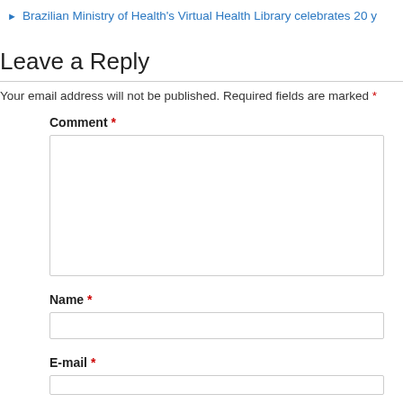Brazilian Ministry of Health's Virtual Health Library celebrates 20 y
Leave a Reply
Your email address will not be published. Required fields are marked *
Comment *
Name *
E-mail *